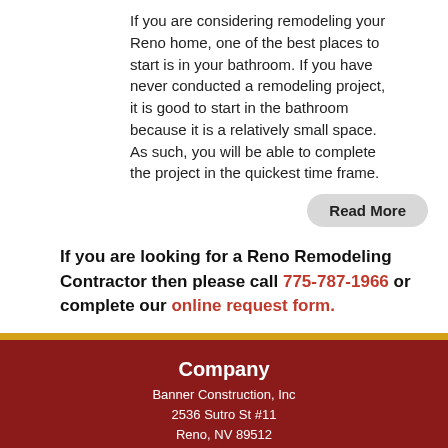If you are considering remodeling your Reno home, one of the best places to start is in your bathroom. If you have never conducted a remodeling project, it is good to start in the bathroom because it is a relatively small space. As such, you will be able to complete the project in the quickest time frame.
Read More
If you are looking for a Reno Remodeling Contractor then please call 775-787-1966 or complete our online request form.
Company
Banner Construction, Inc
2536 Sutro St #11
Reno, NV 89512
Phone: 775-787-1966
[Figure (infographic): Five social media icon buttons: YP (black), Facebook (blue), Twitter (light blue), YouTube (red), Yelp (red)]